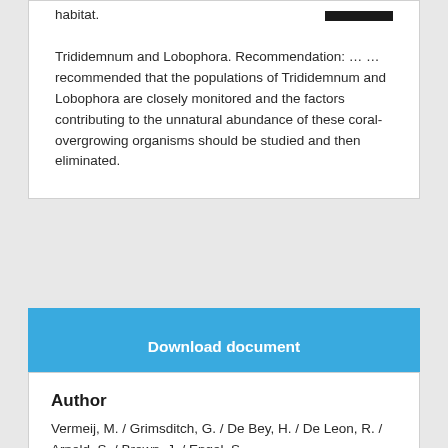habitat. Trididemnum and Lobophora. Recommendation: … recommended that the populations of Trididemnum and Lobophora are closely monitored and the factors contributing to the unnatural abundance of these coral-overgrowing organisms should be studied and then eliminated.
Download document
Author
Vermeij, M. / Grimsditch, G. / De Bey, H. / De Leon, R. / Arnold, S. / Brown, J. / Engel, S.